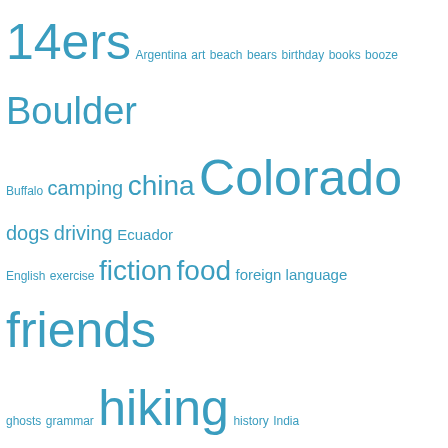[Figure (other): Tag cloud with words of varying sizes in blue color: 14ers, Argentina, art, beach, bears, birthday, books, booze, Boulder, Buffalo, camping, china, Colorado, dogs, driving, Ecuador, English, exercise, fiction, food, foreign language, friends, ghosts, grammar, hiking, history, India, international travel, jobs, Life in the People's Republic, money, mountains, music, nature, novel, Oh Boys, politics, relationships, running, Russia, snow, Spanish, technology, travel, Trotsky Bear, turning40, waterfalls, work, writer's life, young adult]
Looking for Something Else?
Search ...